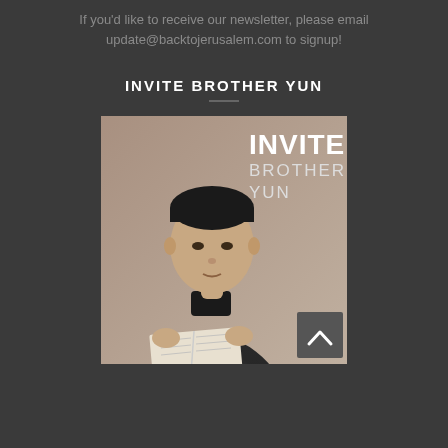If you'd like to receive our newsletter, please email update@backtojerusalem.com to signup!
INVITE BROTHER YUN
[Figure (photo): Black and white photo of Brother Yun, a Chinese man in a traditional silk jacket holding an open book, with white text overlay reading 'INVITE BROTHER YUN']